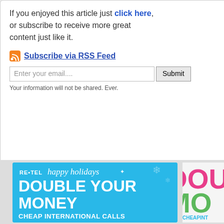If you enjoyed this article just click here, or subscribe to receive more great content just like it.
Subscribe via RSS Feed
Enter your email.... Submit
Your information will not be shared. Ever.
[Figure (screenshot): RE•TEL happy holidays advertisement banner: DOUBLE YOUR MONEY - CHEAP INTERNATIONAL CALLS with Claim offer text and snowflake decorations on blue background]
[Figure (screenshot): Partial advertisement banner showing DOUBLE MO... CHEAPINT... and TRY NO... with pink, green and blue colors]